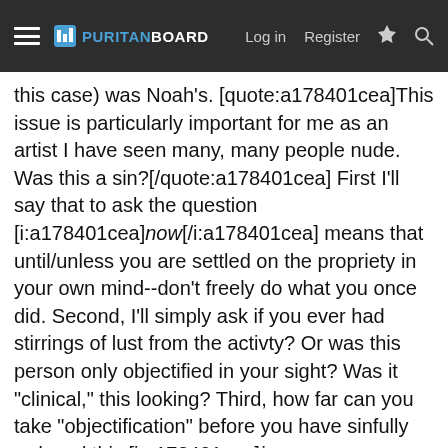PURITAN BOARD — Log in | Register
this case) was Noah's. [quote:a178401cea]This issue is particularly important for me as an artist I have seen many, many people nude. Was this a sin?[/quote:a178401cea] First I'll say that to ask the question [i:a178401cea]now[/i:a178401cea] means that until/unless you are settled on the propriety in your own mind--don't freely do what you once did. Second, I'll simply ask if you ever had stirrings of lust from the activty? Or was this person only objectified in your sight? Was it &quot;clinical,&quot; this looking? Third, how far can you take &quot;objectification&quot; before you have sinfully reduced this [i:a178401cea]imago dei[/i:a178401cea] to a &quot;thing.&quot; Both tendencies have an &quot;unnatural&quot; bent. The modern obsession with the human body is a working out of Enlightenment preoccupations. It springs from Rennaisance and neo-classical roots. It's tendency to reductionism is its heritage from paganism. I honestly don't know if it is possible to redeem good fruits from this tree. So, Ian, its going to be up to you to discover the answers to these questions and chart your course of God-